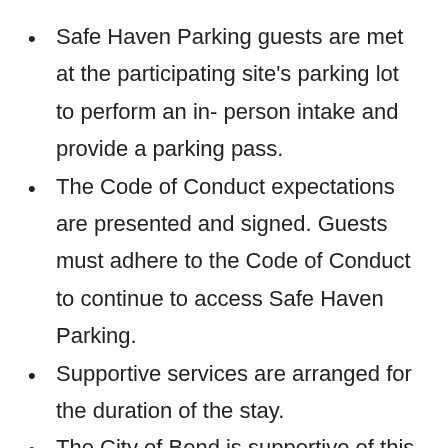Safe Haven Parking guests are met at the participating site's parking lot to perform an in- person intake and provide a parking pass.
The Code of Conduct expectations are presented and signed. Guests must adhere to the Code of Conduct to continue to access Safe Haven Parking.
Supportive services are arranged for the duration of the stay.
The City of Bend is supportive of this program and will have a basic application for the site to complete